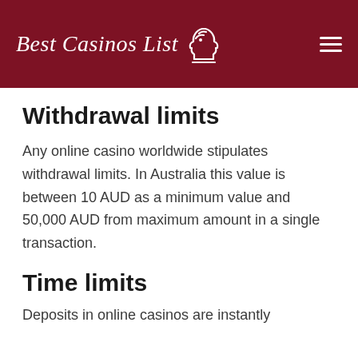Best Casinos List
Withdrawal limits
Any online casino worldwide stipulates withdrawal limits. In Australia this value is between 10 AUD as a minimum value and 50,000 AUD from maximum amount in a single transaction.
Time limits
Deposits in online casinos are instantly